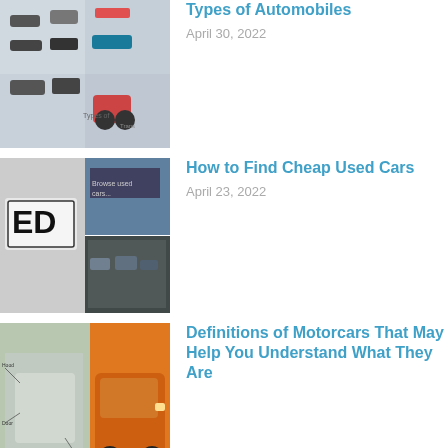[Figure (photo): Types of automobiles thumbnail image showing various car silhouettes]
Types of Automobiles
April 30, 2022
[Figure (photo): How to Find Cheap Used Cars thumbnail showing license plate ED and used car lot]
How to Find Cheap Used Cars
April 23, 2022
[Figure (photo): Definitions of Motorcars thumbnail showing car diagram on orange background]
Definitions of Motorcars That May Help You Understand What They Are
April 15, 2022
[Figure (photo): How to Choose an Auto Body Shop thumbnail showing buffing/polishing a car]
How to Choose an Auto Body Shop
April 9, 2022
[Figure (photo): Automotive Mechanic Job Description thumbnail showing mechanic]
Automotive Mechanic Job Description